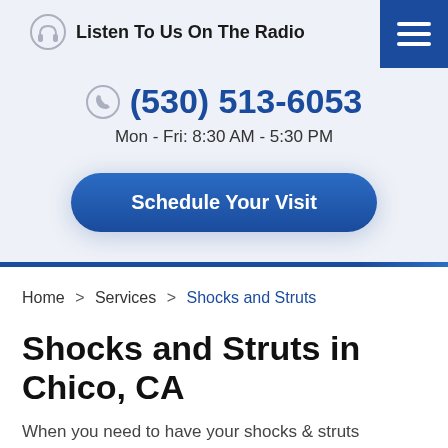Listen To Us On The Radio
(530) 513-6053
Mon - Fri: 8:30 AM - 5:30 PM
Schedule Your Visit
Home > Services > Shocks and Struts
Shocks and Struts in Chico, CA
When you need to have your shocks & struts serviced, stop by D&E Auto Repair. Chico knows our expert auto mechanics for